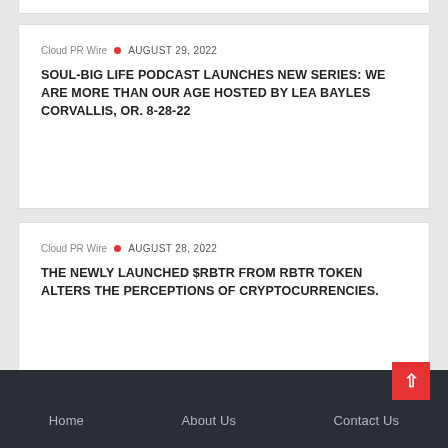Cloud PR Wire • AUGUST 29, 2022
SOUL-BIG LIFE PODCAST LAUNCHES NEW SERIES: WE ARE MORE THAN OUR AGE HOSTED BY LEA BAYLES CORVALLIS, OR. 8-28-22
Cloud PR Wire • AUGUST 28, 2022
THE NEWLY LAUNCHED $RBTR FROM RBTR TOKEN ALTERS THE PERCEPTIONS OF CRYPTOCURRENCIES.
Home   About Us   Contact Us